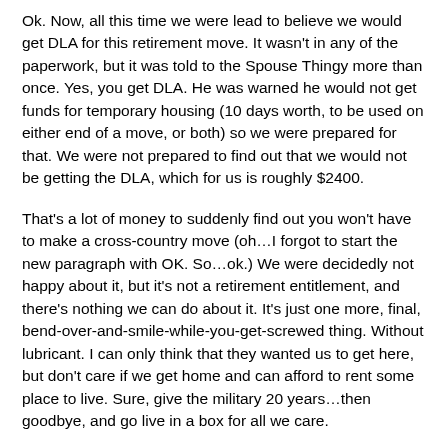Ok. Now, all this time we were lead to believe we would get DLA for this retirement move. It wasn't in any of the paperwork, but it was told to the Spouse Thingy more than once. Yes, you get DLA. He was warned he would not get funds for temporary housing (10 days worth, to be used on either end of a move, or both) so we were prepared for that. We were not prepared to find out that we would not be getting the DLA, which for us is roughly $2400.
That's a lot of money to suddenly find out you won't have to make a cross-country move (oh…I forgot to start the new paragraph with OK. So…ok.) We were decidedly not happy about it, but it's not a retirement entitlement, and there's nothing we can do about it. It's just one more, final, bend-over-and-smile-while-you-get-screwed thing. Without lubricant. I can only think that they wanted us to get here, but don't care if we get home and can afford to rent some place to live. Sure, give the military 20 years…then goodbye, and go live in a box for all we care.
Ok. So we're going home without DLA. Fine. But today the